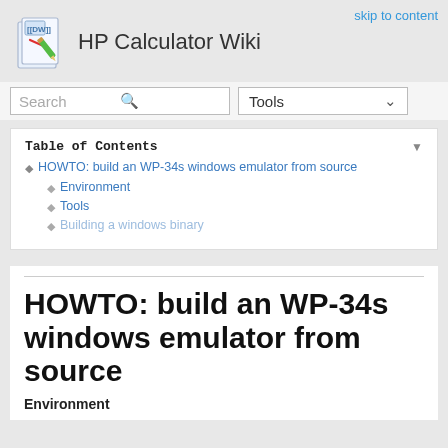HP Calculator Wiki
skip to content
Search  Tools
Table of Contents
HOWTO: build an WP-34s windows emulator from source
Environment
Tools
Building a windows binary
HOWTO: build an WP-34s windows emulator from source
Environment